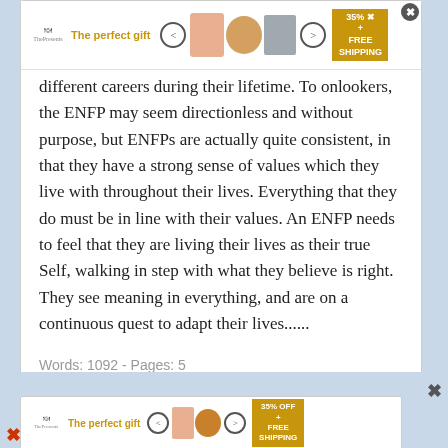[Figure (other): Advertisement banner at top of card: 'The perfect gift' with food images, navigation arrows, and '35% OFF + FREE SHIPPING' badge]
different careers during their lifetime. To onlookers, the ENFP may seem directionless and without purpose, but ENFPs are actually quite consistent, in that they have a strong sense of values which they live with throughout their lives. Everything that they do must be in line with their values. An ENFP needs to feel that they are living their lives as their true Self, walking in step with what they believe is right. They see meaning in everything, and are on a continuous quest to adapt their lives......
Words: 1092 - Pages: 5
[Figure (other): Advertisement banner at bottom: 'The perfect gift' with food images, navigation arrows, and '35% OFF + FREE SHIPPING' badge]